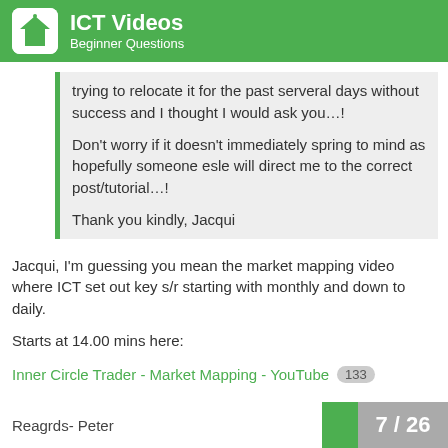ICT Videos - Beginner Questions
trying to relocate it for the past serveral days without success and I thought I would ask you…!

Don't worry if it doesn't immediately spring to mind as hopefully someone esle will direct me to the correct post/tutorial…!

Thank you kindly, Jacqui
Jacqui, I'm guessing you mean the market mapping video where ICT set out key s/r starting with monthly and down to daily.

Starts at 14.00 mins here:
Inner Circle Trader - Market Mapping - YouTube  133
Reagrds- Peter
7 / 26